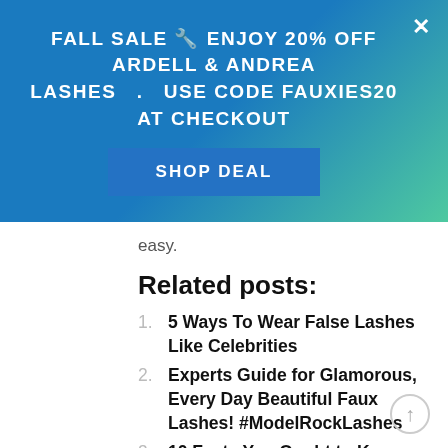FALL SALE 🔧 ENJOY 20% OFF ARDELL & ANDREA LASHES  .  USE CODE FAUXIES20 AT CHECKOUT
easy.
Related posts:
5 Ways To Wear False Lashes Like Celebrities
Experts Guide for Glamorous, Every Day Beautiful Faux Lashes! #ModelRockLashes
10 Facts You Ought to Know about False Lashes
Top Eyelashes and Mascara Hacks You Ought to Try